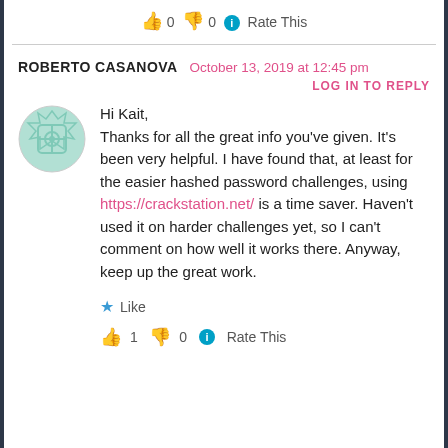👍 0 👎 0 ℹ Rate This
ROBERTO CASANOVA  October 13, 2019 at 12:45 pm
LOG IN TO REPLY
Hi Kait,
Thanks for all the great info you've given. It's been very helpful. I have found that, at least for the easier hashed password challenges, using https://crackstation.net/ is a time saver. Haven't used it on harder challenges yet, so I can't comment on how well it works there. Anyway, keep up the great work.
★ Like
👍 1 👎 0 ℹ Rate This